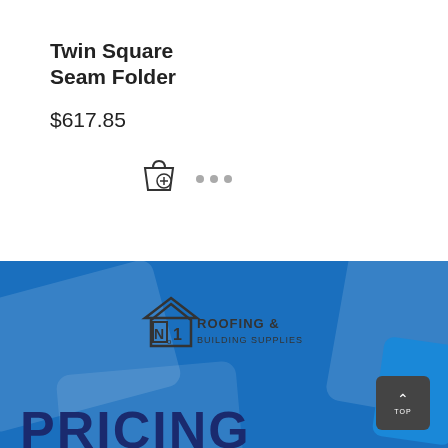Twin Square Seam Folder
$617.85
[Figure (screenshot): Add to cart icon (shopping bag with plus sign) and three horizontal dots (more options) icon]
[Figure (photo): Blue banner with No1 Roofing & Building Supplies logo watermark, overlapping card graphics, and large bold PRICING text at bottom]